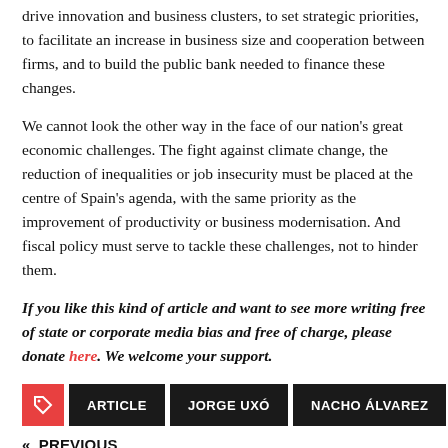drive innovation and business clusters, to set strategic priorities, to facilitate an increase in business size and cooperation between firms, and to build the public bank needed to finance these changes.
We cannot look the other way in the face of our nation's great economic challenges. The fight against climate change, the reduction of inequalities or job insecurity must be placed at the centre of Spain's agenda, with the same priority as the improvement of productivity or business modernisation. And fiscal policy must serve to tackle these challenges, not to hinder them.
If you like this kind of article and want to see more writing free of state or corporate media bias and free of charge, please donate here. We welcome your support.
ARTICLE | JORGE UXÓ | NACHO ÁLVAREZ | « PREVIOUS